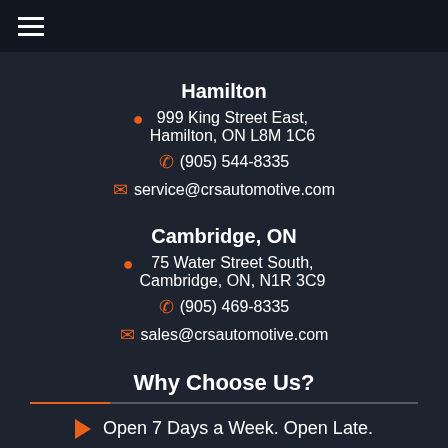≡
Hamilton
999 King Street East, Hamilton, ON L8M 1C6
(905) 544-8335
service@crsautomotive.com
Cambridge, ON
75 Water Street South, Cambridge, ON, N1R 3C9
(905) 469-8335
sales@crsautomotive.com
Why Choose Us?
Open 7 Days a Week. Open Late.